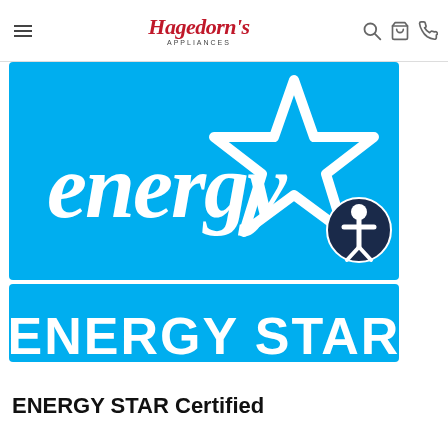Hagedorn's Appliances – navigation bar with menu, search, cart, phone icons
[Figure (logo): ENERGY STAR certification logo: bright blue background with white cursive 'energy' text and a white five-pointed star outline, below which is a lighter blue banner with bold white uppercase 'ENERGY STAR' text. An accessibility icon (person in circle) overlays the lower-right corner.]
ENERGY STAR Certified